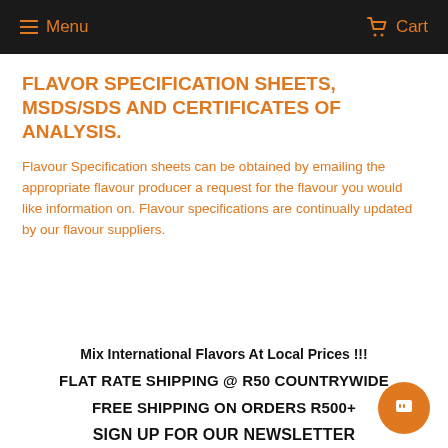Menu  Cart
FLAVOR SPECIFICATION SHEETS, MSDS/SDS AND CERTIFICATES OF ANALYSIS.
Flavour Specification sheets can be obtained by emailing the appropriate flavour producer a request for the flavour you would like information on. Flavour specifications are continually updated by our flavour suppliers.
Mix International Flavors At Local Prices !!!
FLAT RATE SHIPPING @ R50 COUNTRYWIDE
FREE SHIPPING ON ORDERS R500+
SIGN UP FOR OUR NEWSLETTER